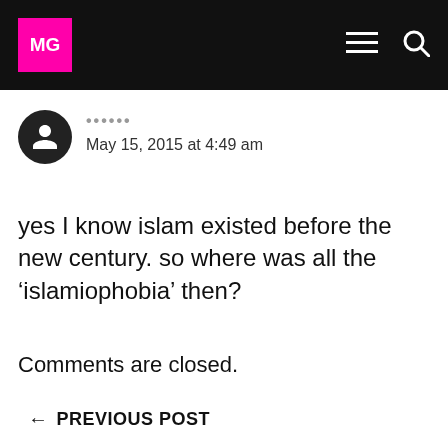MG
May 15, 2015 at 4:49 am
yes I know islam existed before the new century. so where was all the ‘islamiophobia’ then?
Comments are closed.
← PREVIOUS POST